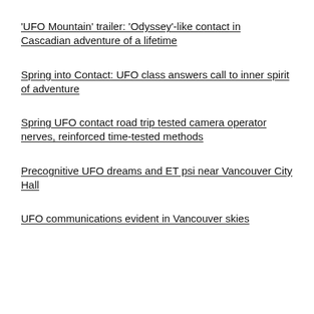'UFO Mountain' trailer: 'Odyssey'-like contact in Cascadian adventure of a lifetime
Spring into Contact: UFO class answers call to inner spirit of adventure
Spring UFO contact road trip tested camera operator nerves, reinforced time-tested methods
Precognitive UFO dreams and ET psi near Vancouver City Hall
UFO communications evident in Vancouver skies